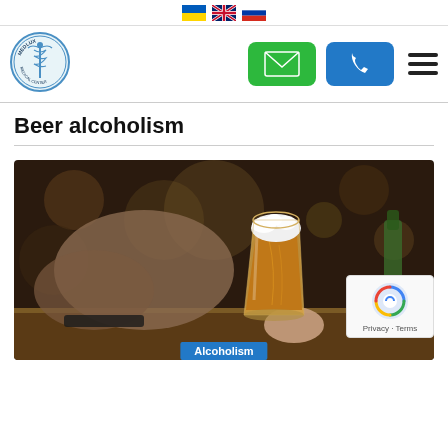Medlux Medical Center - flags: Ukraine, UK, Russia
[Figure (logo): Medlux Medical Center circular logo with caduceus symbol]
Beer alcoholism
[Figure (photo): Person holding a pint glass of golden beer on a bar counter, with blurred background showing bar bottles and bokeh lighting. Caption label 'Alcoholism' in blue at bottom.]